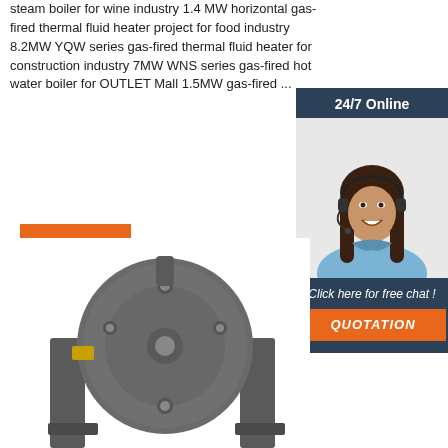steam boiler for wine industry 1.4 MW horizontal gas-fired thermal fluid heater project for food industry 8.2MW YQW series gas-fired thermal fluid heater for construction industry 7MW WNS series gas-fired hot water boiler for OUTLET Mall 1.5MW gas-fired ...
[Figure (other): Orange 'Get Price' button]
[Figure (photo): Sidebar with '24/7 Online' header, photo of a smiling woman with headset, 'Click here for free chat!' text, and orange QUOTATION button on dark blue background]
[Figure (photo): Industrial boiler equipment photo - front-facing circular boiler component mounted on a grey metal stand/frame]